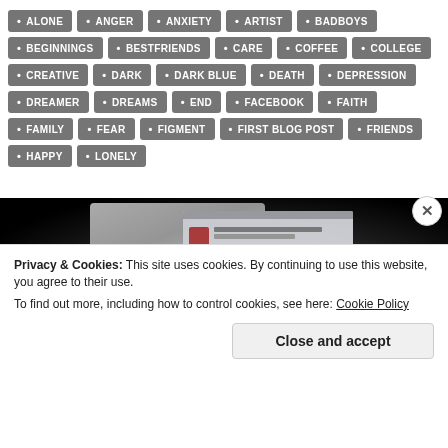ALONE, ANGER, ANXIETY, ARTIST, BADBOYS, BEGINNINGS, BESTFRIENDS, CARE, COFFEE, COLLEGE, CREATIVE, DARK, DARK BLUE, DEATH, DEPRESSION, DREAMER, DREAMS, END, FACEBOOK, FAITH, FAMILY, FEAR, FIGMENT, FIRST BLOG POST, FRIENDS, HAPPY, LONELY
[Figure (screenshot): Dark photo showing a person sitting in front of a glowing computer monitor displaying what appears to be a social media or blog page with thumbnails]
Privacy & Cookies: This site uses cookies. By continuing to use this website, you agree to their use.
To find out more, including how to control cookies, see here: Cookie Policy
Close and accept